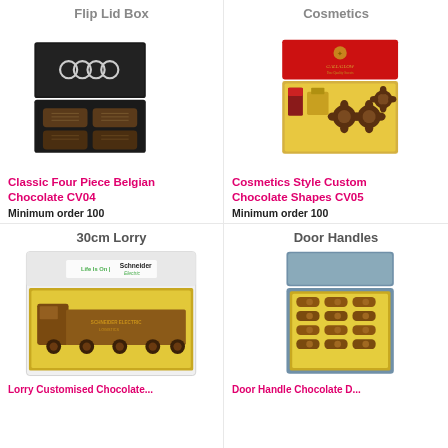Flip Lid Box
[Figure (photo): Black flip lid chocolate box with Audi logo, containing four Belgian chocolates arranged in a 2x2 grid]
Classic Four Piece Belgian Chocolate CV04
Minimum order 100
Cosmetics
[Figure (photo): Red cosmetics-style box with gold tray containing a lipstick and three decorative chocolate shapes]
Cosmetics Style Custom Chocolate Shapes CV05
Minimum order 100
30cm Lorry
[Figure (photo): White box with Schneider Electric branding containing a large chocolate lorry/truck on a gold tray]
Lorry Customised Chocolate...
Door Handles
[Figure (photo): Blue-grey box containing multiple chocolate door handle shapes arranged in a grid on a gold tray]
Door Handle Chocolate D...